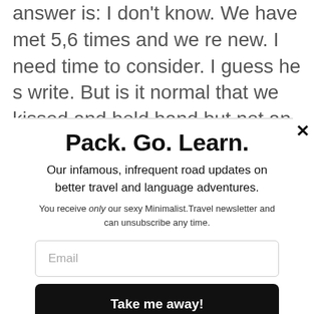answer is: I don't know. We have met 5,6 times and we re new. I need time to consider. I guess he s write. But is it normal that we kissed and hold hand but not an official couple. Ans he stop initiating our conversation. I am the one who do it now. It makes me confused because we met yesterday and he said he liked the night we spent tgt and he will text me when will we met then he went silent again. I
Pack. Go. Learn.
Our infamous, infrequent road updates on better travel and language adventures.
You receive only our sexy Minimalist.Travel newsletter and can unsubscribe any time.
Email
Take me away!